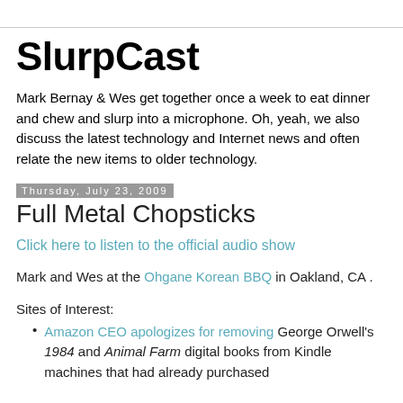SlurpCast
Mark Bernay & Wes get together once a week to eat dinner and chew and slurp into a microphone. Oh, yeah, we also discuss the latest technology and Internet news and often relate the new items to older technology.
Thursday, July 23, 2009
Full Metal Chopsticks
Click here to listen to the official audio show
Mark and Wes at the Ohgane Korean BBQ in Oakland, CA .
Sites of Interest:
Amazon CEO apologizes for removing George Orwell's 1984 and Animal Farm digital books from Kindle machines that had already purchased